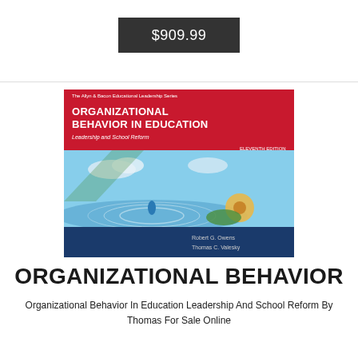$909.99
[Figure (photo): Book cover of 'Organizational Behavior in Education: Leadership and School Reform' featuring a water droplet photo, red title banner, and blue author section at bottom. Authors listed as Robert G. Owens and Thomas C. Valesky.]
ORGANIZATIONAL BEHAVIOR
Organizational Behavior In Education Leadership And School Reform By Thomas For Sale Online